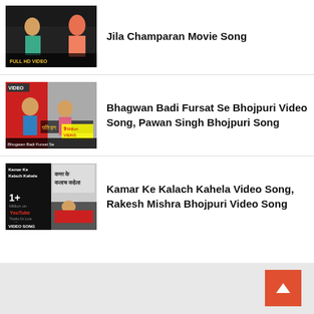Jila Champaran Movie Song
Bhagwan Badi Fursat Se Bhojpuri Video Song, Pawan Singh Bhojpuri Song
Kamar Ke Kalach Kahela Video Song, Rakesh Mishra Bhojpuri Video Song